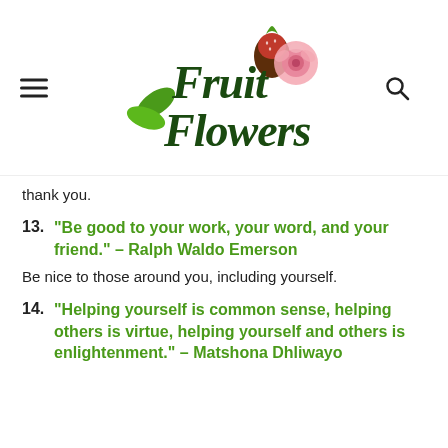[Figure (logo): Fruit Flowers logo with decorative lettering, green leaves, a chocolate-dipped strawberry, and a pink rose.]
thank you.
13. "Be good to your work, your word, and your friend." – Ralph Waldo Emerson
Be nice to those around you, including yourself.
14. "Helping yourself is common sense, helping others is virtue, helping yourself and others is enlightenment." – Matshona Dhliwayo